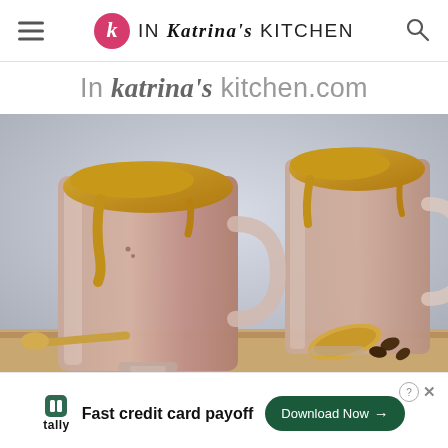IN Katrina's KITCHEN
In katrina's kitchen.com
[Figure (photo): Two glass mugs filled with chocolate milk drink topped with golden/caramel colored foam, placed on a wooden surface with coffee beans and a cookie visible in the background. Light blue-grey background.]
Fast credit card payoff — Tally — Download Now